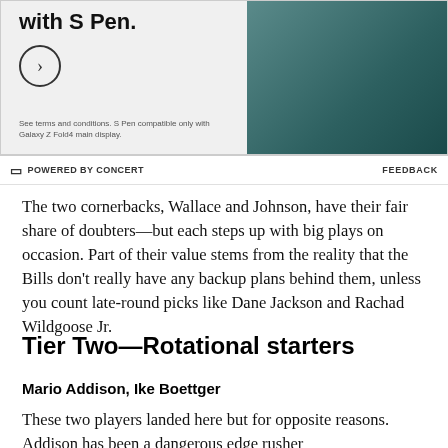[Figure (photo): Advertisement showing Samsung Galaxy Z Fold4 with S Pen. Large bold text reads 'with S Pen.' with a circular arrow button below it. Fine print at bottom left: 'See terms and conditions. S Pen compatible only with Galaxy Z Fold4 main display.' A teal/dark green folded phone with S Pen is shown on the right side.]
POWERED BY CONCERT    FEEDBACK
The two cornerbacks, Wallace and Johnson, have their fair share of doubters—but each steps up with big plays on occasion. Part of their value stems from the reality that the Bills don't really have any backup plans behind them, unless you count late-round picks like Dane Jackson and Rachad Wildgoose Jr.
Tier Two—Rotational starters
Mario Addison, Ike Boettger
These two players landed here but for opposite reasons. Addison has been a dangerous edge rusher